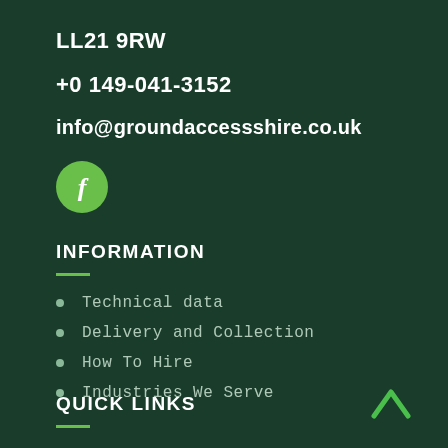LL21 9RW
+0 149-041-3152
info@groundaccessshire.co.uk
[Figure (logo): Green circular Facebook icon with white letter f]
INFORMATION
Technical data
Delivery and Collection
How To Hire
Industries We Serve
QUICK LINKS